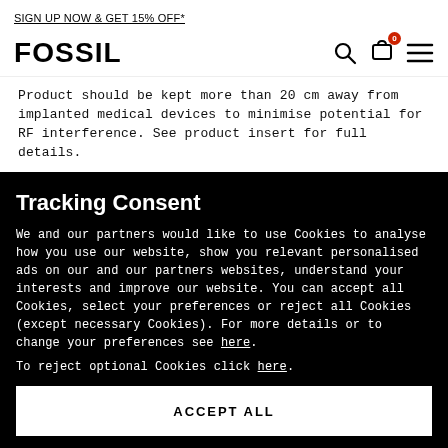SIGN UP NOW & GET 15% OFF*
FOSSIL
Product should be kept more than 20 cm away from implanted medical devices to minimise potential for RF interference. See product insert for full details.
Tracking Consent
We and our partners would like to use Cookies to analyse how you use our website, show you relevant personalised ads on our and our partners websites, understand your interests and improve our website. You can accept all Cookies, select your preferences or reject all Cookies (except necessary Cookies). For more details or to change your preferences see here.
To reject optional Cookies click here.
ACCEPT ALL